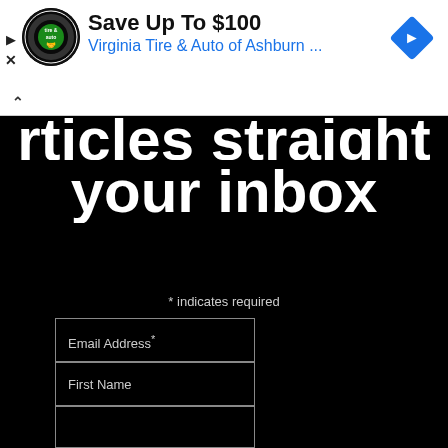[Figure (screenshot): Advertisement banner for Virginia Tire & Auto of Ashburn with logo and blue navigation icon. Shows 'Save Up To $100' headline and 'Virginia Tire & Auto of Ashburn ...' subtitle in blue.]
rticles straight to your inbox
* indicates required
Email Address*
First Name